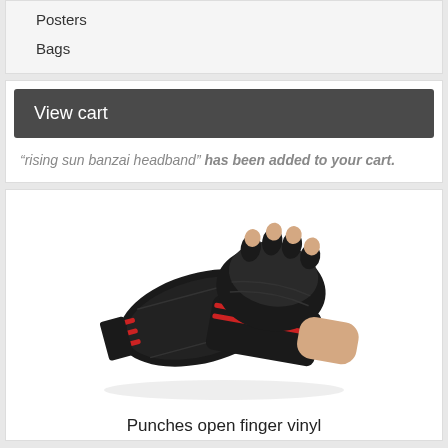Posters
Bags
View cart
“rising sun banzai headband” has been added to your cart.
[Figure (photo): Black and red MMA/martial arts open finger vinyl gloves, showing a pair with one being worn on a hand, photographed on white background.]
Punches open finger vinyl